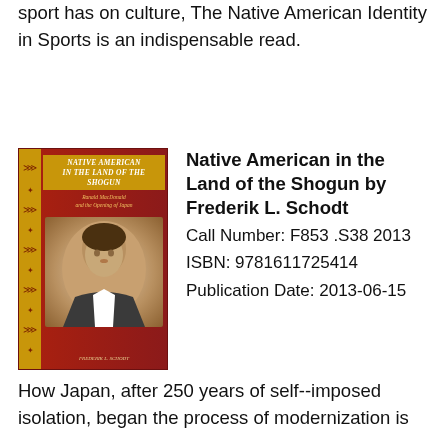sport has on culture, The Native American Identity in Sports is an indispensable read.
[Figure (illustration): Book cover of 'Native American in the Land of the Shogun' showing a portrait of Ranald MacDonald on a dark red background with gold accents]
Native American in the Land of the Shogun by Frederik L. Schodt
Call Number: F853 .S38 2013
ISBN: 9781611725414
Publication Date: 2013-06-15
How Japan, after 250 years of self--imposed isolation, began the process of modernization is in part the story of Ranald MacDonald. In 1848 this half-Scot, half-Chinook adventurer from the Pacific Northwest landed on an island off Hokkaido. Although promptly arrested and imprisoned for seven months in Nagasaki, the intelligent, well-educated MacDonald fascinated the Japanese and became one of their first teachers of English and Western ways. Based on primary research in Japan and North America, this book chronicles the events leading to MacDonald's journey and his later